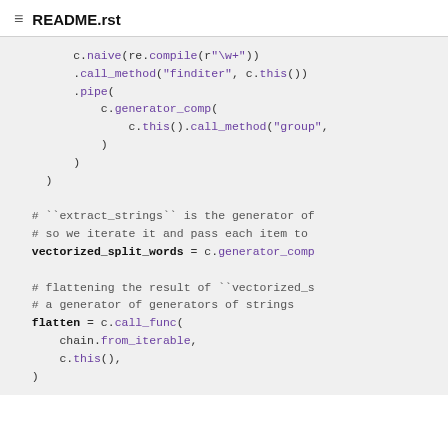README.rst
[Figure (screenshot): Code block showing Python chained method calls using c.naive, c.call_method, c.pipe, c.generator_comp, c.this, c.call_func, with comments explaining extract_strings generator and vectorized_split_words, and flatten using chain.from_iterable]